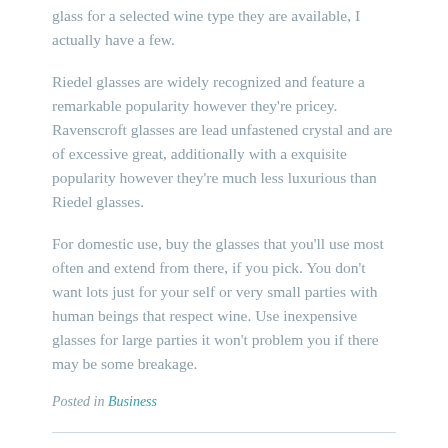glass for a selected wine type they are available, I actually have a few.
Riedel glasses are widely recognized and feature a remarkable popularity however they're pricey. Ravenscroft glasses are lead unfastened crystal and are of excessive great, additionally with a exquisite popularity however they're much less luxurious than Riedel glasses.
For domestic use, buy the glasses that you'll use most often and extend from there, if you pick. You don't want lots just for your self or very small parties with human beings that respect wine. Use inexpensive glasses for large parties it won't problem you if there may be some breakage.
Posted in Business
Apple Iphone 3G S – Worked